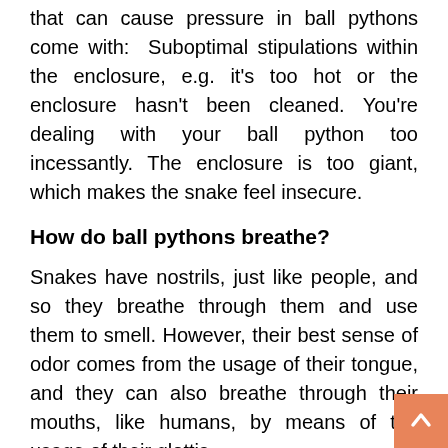that can cause pressure in ball pythons come with: Suboptimal stipulations within the enclosure, e.g. it's too hot or the enclosure hasn't been cleaned. You're dealing with your ball python too incessantly. The enclosure is too giant, which makes the snake feel insecure.
How do ball pythons breathe?
Snakes have nostrils, just like people, and so they breathe through them and use them to smell. However, their best sense of odor comes from the usage of their tongue, and they can also breathe through their mouths, like humans, by means of the usage of their glottis.
How do you inform in case your